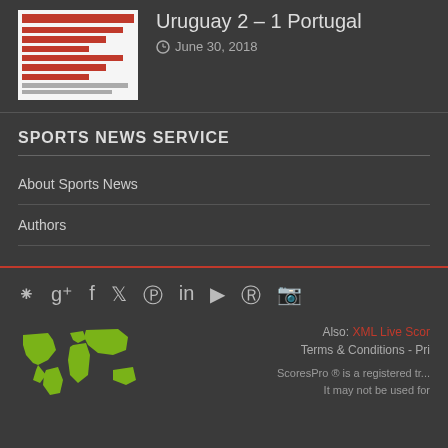[Figure (other): Thumbnail image showing a red and white statistics/table layout]
Uruguay 2 – 1 Portugal
June 30, 2018
SPORTS NEWS SERVICE
About Sports News
Authors
Social media icons: RSS, Google+, Facebook, Twitter, Pinterest, LinkedIn, YouTube, Reddit, Instagram
[Figure (illustration): Green world map silhouette]
Also: XML Live Scor
Terms & Conditions - Pri
ScoresPro ® is a registered tr... It may not be used for